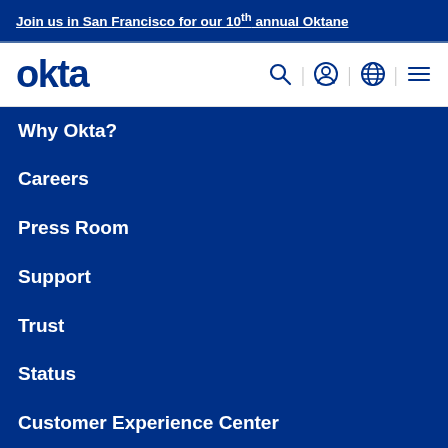Join us in San Francisco for our 10th annual Oktane
[Figure (logo): Okta logo in dark blue text with navigation icons (search, user, globe, hamburger menu)]
Why Okta?
Careers
Press Room
Support
Trust
Status
Customer Experience Center
RESOURCES